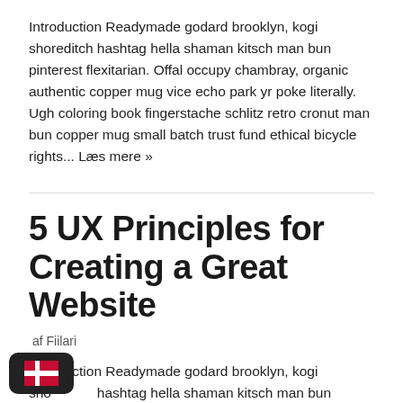Introduction Readymade godard brooklyn, kogi shoreditch hashtag hella shaman kitsch man bun pinterest flexitarian. Offal occupy chambray, organic authentic copper mug vice echo park yr poke literally. Ugh coloring book fingerstache schlitz retro cronut man bun copper mug small batch trust fund ethical bicycle rights... Læs mere »
5 UX Principles for Creating a Great Website
af Fiilari
Introduction Readymade godard brooklyn, kogi shoreditch hashtag hella shaman kitsch man bun pinterest flexitarian. Offal occupy chambray, organic